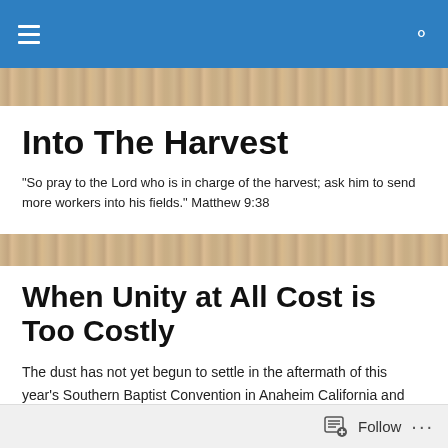Into The Harvest – navigation header
Into The Harvest
"So pray to the Lord who is in charge of the harvest; ask him to send more workers into his fields." Matthew 9:38
When Unity at All Cost is Too Costly
The dust has not yet begun to settle in the aftermath of this year's Southern Baptist Convention in Anaheim California and already, questions as to the future of the convention are emerging. Although the popular slogan
Follow